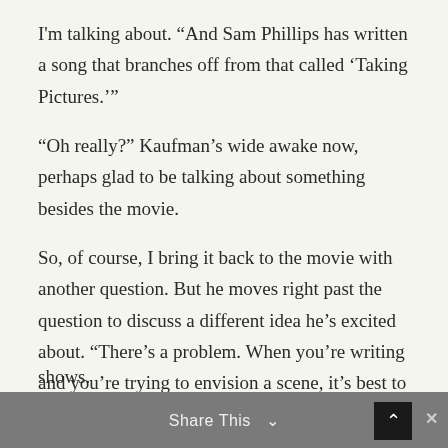I'm talking about. “And Sam Phillips has written a song that branches off from that called ‘Taking Pictures.’”
“Oh really?” Kaufman’s wide awake now, perhaps glad to be talking about something besides the movie.
So, of course, I bring it back to the movie with another question. But he moves right past the question to discuss a different idea he’s excited about. “There’s a problem. When you’re writing and you’re trying to envision a scene, it’s best to base it on life. But then so much of what you think about life is based on what you’ve seen in films and television shows.
Share This